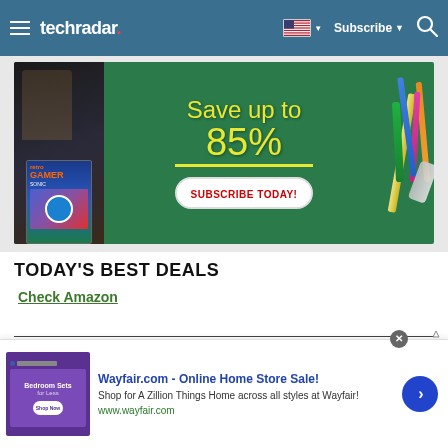techradar | Subscribe | Search
[Figure (photo): Advertisement banner for magazine subscription showing 'Save up to 85%' in yellow text on green background with school supplies and Retro Gamer magazine cover. 'SUBSCRIBE TODAY!' button in red text.]
TODAY'S BEST DEALS
Check Amazon
[Figure (other): Wayfair.com advertisement - Online Home Store Sale! Shop for A Zillion Things Home across all styles at Wayfair! www.wayfair.com]